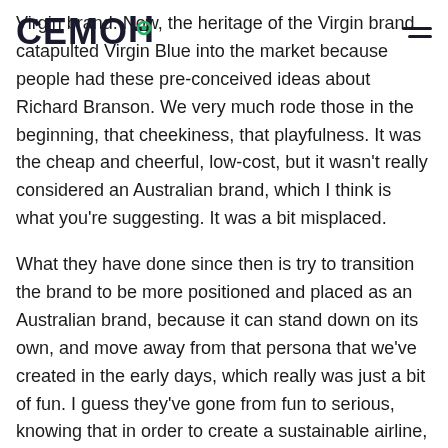СЕМОН
Virgin brand. Now, the heritage of the Virgin brand catapulted Virgin Blue into the market because people had these pre-conceived ideas about Richard Branson. We very much rode those in the beginning, that cheekiness, that playfulness. It was the cheap and cheerful, low-cost, but it wasn't really considered an Australian brand, which I think is what you're suggesting. It was a bit misplaced.
What they have done since then is try to transition the brand to be more positioned and placed as an Australian brand, because it can stand down on its own, and move away from that persona that we've created in the early days, which really was just a bit of fun. I guess they've gone from fun to serious, knowing that in order to create a sustainable airline, that the positioning needed to change.